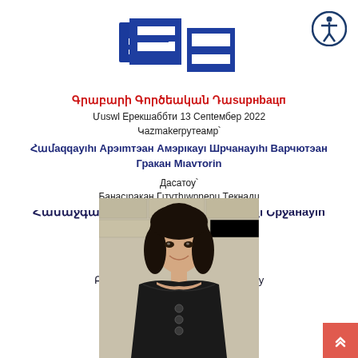[Figure (logo): Blue rectangular logo with nested rectangles, resembling a book or folder icon]
[Figure (logo): Accessibility icon — person in circle, dark blue outline]
Գրաբարի Գործեական Դասընթացը
Մկսեալ Երեքշաբթի 13 Սեպտեմբեր 2022
Կազմակերպությամբ՝
Համաջգայինի Արեւմտեան Ամերիկայի Շրջանային Վարչութեան Գրական Միաւորին
Դասատու՝
Բանասիրական Գիտութիւններու Թեկնածու
[Figure (photo): Portrait photo of a woman with dark hair wearing a black off-shoulder top, smiling, against a light stone wall background]